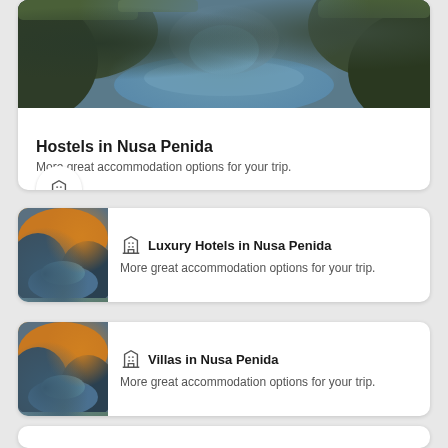[Figure (photo): Hero image of rocky coastal landscape with water, viewed through a stone arch or cave opening]
Hostels in Nusa Penida
More great accommodation options for your trip.
[Figure (photo): Thumbnail photo of rocky arch landscape at sunset with water]
Luxury Hotels in Nusa Penida
More great accommodation options for your trip.
[Figure (photo): Thumbnail photo of rocky arch landscape at sunset with water]
Villas in Nusa Penida
More great accommodation options for your trip.